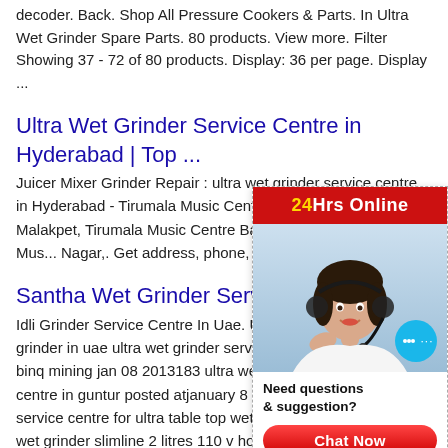decoder. Back. Shop All Pressure Cookers & Parts. In Ultra Wet Grinder Spare Parts. 80 products. View more. Filter Showing 37 - 72 of 80 products. Display: 36 per page. Display ...
Ultra Wet Grinder Service Centre in Hyderabad | Top ...
Juicer Mixer Grinder Repair : ultra wet grinder service centre in Hyderabad - Tirumala Music Centre Private Limited Malakpet, Tirumala Music Centre Banjara Hills, Tirumala Music Centre Banjara Hills, Tirumala Mus... Nagar,. Get address, phone, reviews at A
Santha Wet Grinder Service Cen...
Idli Grinder Service Centre In Uae. Ultra s... grinder in uae ultra wet grinder service ce... binq mining jan 08 2013183 ultra wet grin... centre in guntur posted atjanuary 8 2013... service centre for ultra table top wet grind... wet grinder slimline 2 litres 110 v hot dish...
[Figure (other): Chat widget overlay showing '24Hrs Online' header in red, a female agent with headset photo, a blue chat bubble icon, 'Need questions & suggestion?' text, a red 'Chat Now' button, and 'Enquire' bar at the bottom.]